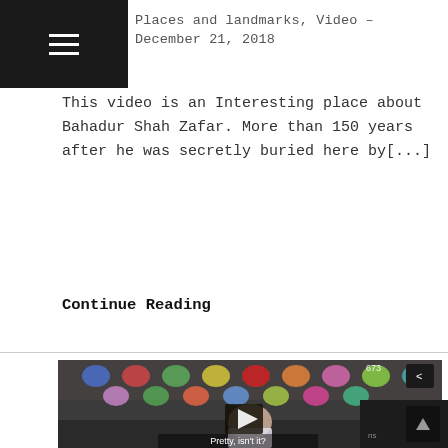☰
Places and landmarks, Video – December 21, 2018
This video is an Interesting place about Bahadur Shah Zafar. More than 150 years after he was secretly buried here by[...]
Continue Reading
[Figure (screenshot): Video thumbnail showing a young woman smiling in front of colorful heart-shaped decorations hanging on a fence. A play button is overlaid in the center. The subtitle reads 'Pretty, isn't it?' A view count of 673 is shown at the top right. A share button icon is visible in the upper right corner.]